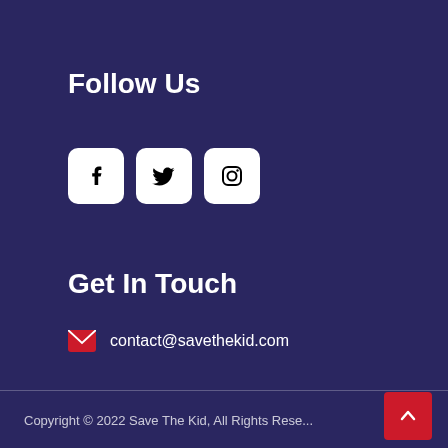Follow Us
[Figure (other): Three social media icon buttons (Facebook, Twitter, Instagram) displayed as white rounded-rectangle boxes with black icons on a dark blue background]
Get In Touch
contact@savethekid.com
Copyright © 2022 Save The Kid, All Rights Reserved